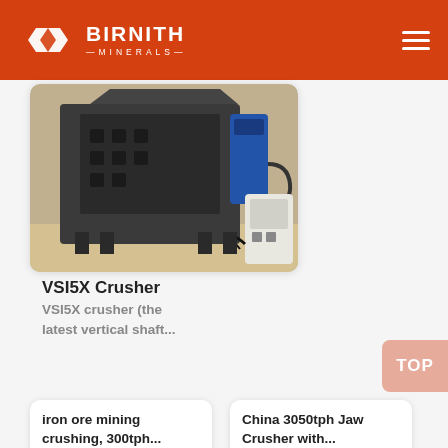BIRNITH MINERALS
[Figure (photo): VSI5X crusher machine in industrial facility, heavy dark metal frame with hydraulic components and a small white auxiliary unit]
VSI5X Crusher
VSI5X crusher (the latest vertical shaft...
iron ore mining crushing, 300tph...
[Figure (photo): Iron ore mining crushing machinery photo]
China 3050tph Jaw Crusher with...
[Figure (photo): China jaw crusher machinery photo]